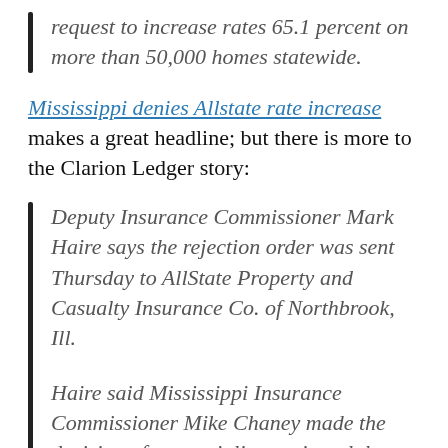request to increase rates 65.1 percent on more than 50,000 homes statewide.
Mississippi denies Allstate rate increase makes a great headline; but there is more to the Clarion Ledger story:
Deputy Insurance Commissioner Mark Haire says the rejection order was sent Thursday to AllState Property and Casualty Insurance Co. of Northbrook, Ill.
Haire said Mississippi Insurance Commissioner Mike Chaney made the decision after specialists reviewed the